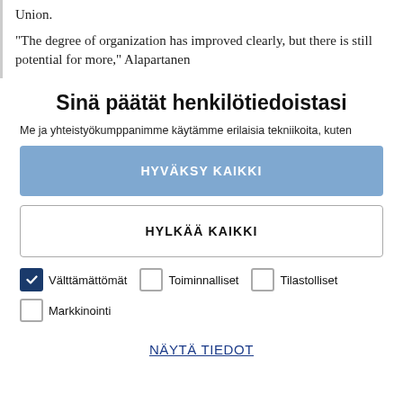Union.
"The degree of organization has improved clearly, but there is still potential for more," Alapartanen
Sinä päätät henkilötiedoistasi
Me ja yhteistyökumppanimme käytämme erilaisia tekniikoita, kuten
HYVÄKSY KAIKKI
HYLKÄÄ KAIKKI
Välttämättömät
Toiminnalliset
Tilastolliset
Markkinointi
NÄYTÄ TIEDOT